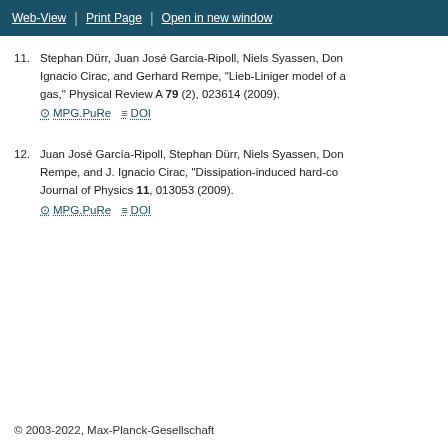Web-View | Print Page | Open in new window
11. Stephan Dürr, Juan José Garcia-Ripoll, Niels Syassen, Dor... Ignacio Cirac, and Gerhard Rempe, "Lieb-Liniger model of a... gas," Physical Review A 79 (2), 023614 (2009). MPG.PuRe DOI
12. Juan José García-Ripoll, Stephan Dürr, Niels Syassen, Dor... Rempe, and J. Ignacio Cirac, "Dissipation-induced hard-co... Journal of Physics 11, 013053 (2009). MPG.PuRe DOI
© 2003-2022, Max-Planck-Gesellschaft